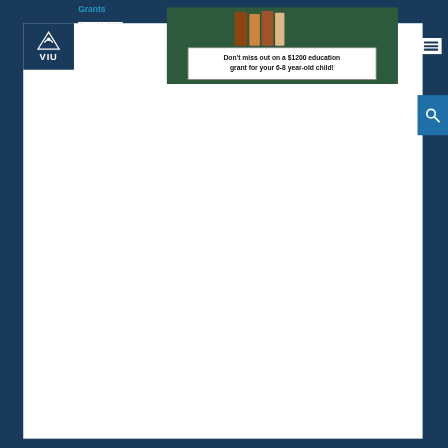Grants
June 14, 2021
[Figure (logo): VIU (Vancouver Island University) logo with white sailfish icon on dark blue background]
[Figure (photo): Advertisement banner: Don't miss out on a $1200 education grant for your 6-8 year-old child!]
Families are being encouraged to open a no-fee, no contribution required Registered Education Savings Plan to access federal and provincial grants.Vancouver Island, BC: Every year, Vancouver Island students miss out on millions of dollars in education savings grants from the provincial government because families don't sign up to receive them.That's why Vancouver Island University's (VIU's)... Read more
« first
‹ previous
1
2
3
4
5
6
7
next ›
last »